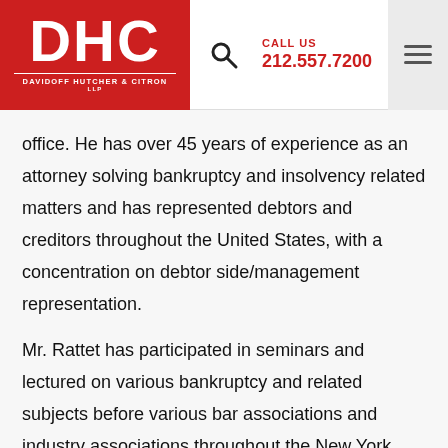[Figure (logo): DHC Davidoff Hutcher & Citron LLP logo in red square with white text, followed by search icon, phone number in red, and hamburger menu]
office. He has over 45 years of experience as an attorney solving bankruptcy and insolvency related matters and has represented debtors and creditors throughout the United States, with a concentration on debtor side/management representation.
Mr. Rattet has participated in seminars and lectured on various bankruptcy and related subjects before various bar associations and industry associations throughout the New York area. During his over 45 year career, Mr. Rattet has acted in various professional capacities in